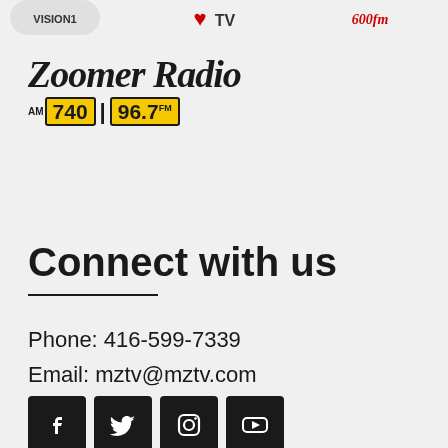[Figure (logo): Zoomer Radio AM 740 | 96.7 FM logo with script text and yellow frequency badges]
Connect with us
Phone: 416-599-7339
Email: mztv@mztv.com
[Figure (other): Social media icons: Facebook, Twitter, Instagram, YouTube]